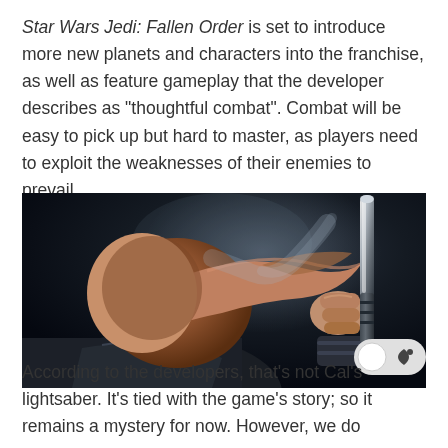Star Wars Jedi: Fallen Order is set to introduce more new planets and characters into the franchise, as well as feature gameplay that the developer describes as "thoughtful combat". Combat will be easy to pick up but hard to master, as players need to exploit the weaknesses of their enemies to prevail.
[Figure (photo): A character with reddish-brown hair tied back, viewed from behind, holding a lightsaber hilt upward against a dark, smoky background.]
According to the developers, that's not Cal's lightsaber. It's tied with the game's story; so it remains a mystery for now. However, we do